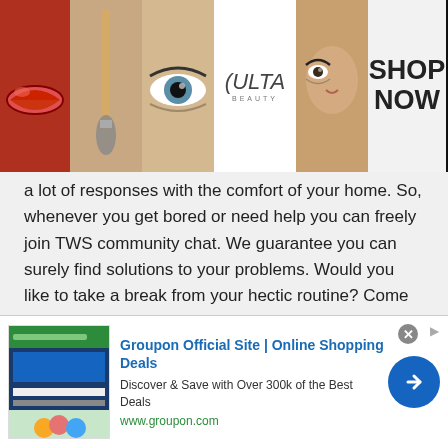[Figure (photo): Ulta Beauty banner advertisement showing makeup images (red lips, makeup brush, eye closeup), the Ulta Beauty logo, an eye with dark makeup, and 'SHOP NOW' text on light background]
a lot of responses with the comfort of your home. So, whenever you get bored or need help you can freely join TWS community chat. We guarantee you can surely find solutions to your problems. Would you like to take a break from your hectic routine? Come join the TWS community chat and start talking to strangers online!
International chat
TWS international chat room is not only restricted
[Figure (other): Groupon ad with thumbnail image, title 'Groupon Official Site | Online Shopping Deals', description 'Discover & Save with Over 300k of the Best Deals', url 'www.groupon.com', and a blue circular call-to-action arrow button. A close (X) button is also visible.]